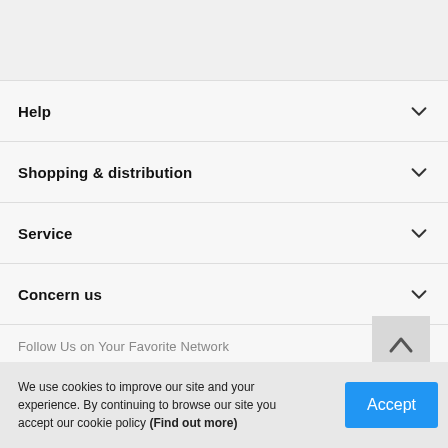Help
Shopping & distribution
Service
Concern us
Follow Us on Your Favorite Network
[Figure (illustration): Social media icons: Instagram, Facebook, YouTube]
[Figure (illustration): Back to top arrow button]
We use cookies to improve our site and your experience. By continuing to browse our site you accept our cookie policy (Find out more)